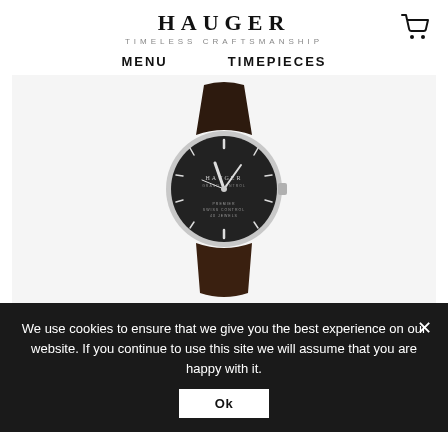HAUGER TIMELESS CRAFTSMANSHIP
MENU   TIMEPIECES
[Figure (photo): A luxury wristwatch with a black dial, silver case, and dark brown leather strap displayed on a light gray background. The watch face reads HAUGER with additional text including SWISS CONTROL. Silver hour markers and hands are visible on the dial.]
We use cookies to ensure that we give you the best experience on our website. If you continue to use this site we will assume that you are happy with it.